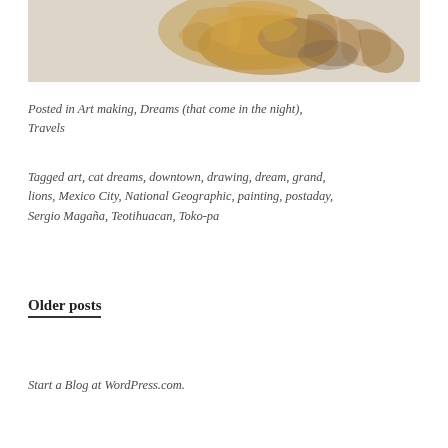[Figure (illustration): Partial view of a watercolor/ink drawing showing feathers or fur in amber, brown and gray tones on a light background]
Posted in Art making, Dreams (that come in the night), Travels
Tagged art, cat dreams, downtown, drawing, dream, grand, lions, Mexico City, National Geographic, painting, postaday, Sergio Magaña, Teotihuacan, Toko-pa
Older posts
Start a Blog at WordPress.com.